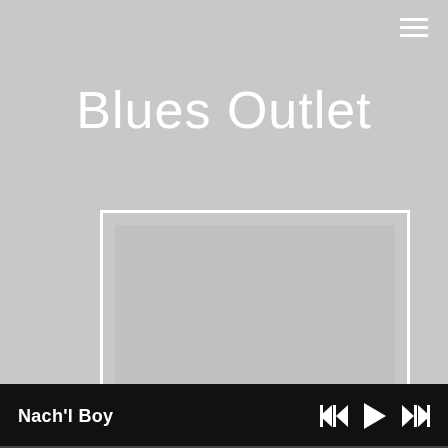[Figure (screenshot): Hamburger menu icon (three horizontal white lines) in top-right corner]
Blues Outlet
[Figure (illustration): Album art placeholder: outer white-bordered square with inner lighter square, on grey background]
Nach'l Boy
[Figure (illustration): Media player controls: skip-back, play, skip-forward icons in white on black bar]